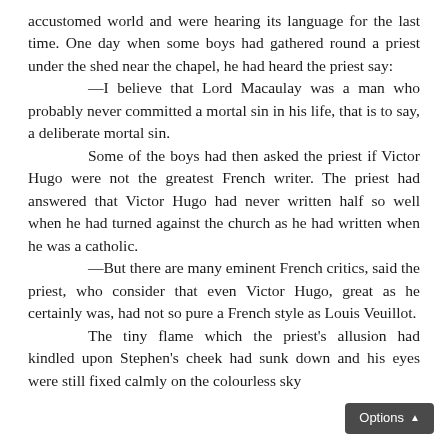accustomed world and were hearing its language for the last time. One day when some boys had gathered round a priest under the shed near the chapel, he had heard the priest say:
—I believe that Lord Macaulay was a man who probably never committed a mortal sin in his life, that is to say, a deliberate mortal sin.
	Some of the boys had then asked the priest if Victor Hugo were not the greatest French writer. The priest had answered that Victor Hugo had never written half so well when he had turned against the church as he had written when he was a catholic.
—But there are many eminent French critics, said the priest, who consider that even Victor Hugo, great as he certainly was, had not so pure a French style as Louis Veuillot.
	The tiny flame which the priest's allusion had kindled upon Stephen's cheek had sunk down and his eyes were still fixed calmly on the colourless sky